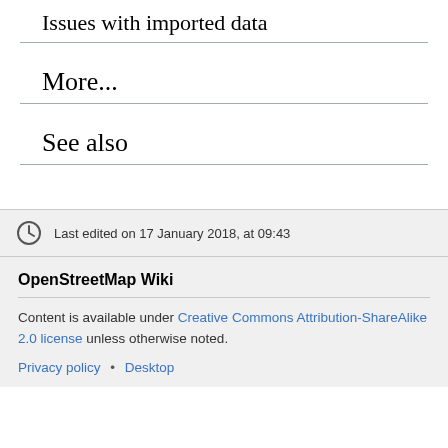Issues with imported data
More...
See also
Last edited on 17 January 2018, at 09:43
OpenStreetMap Wiki
Content is available under Creative Commons Attribution-ShareAlike 2.0 license unless otherwise noted.
Privacy policy • Desktop